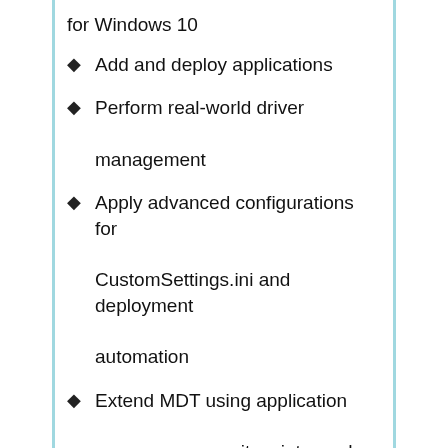for Windows 10
Add and deploy applications
Perform real-world driver management
Apply advanced configurations for CustomSettings.ini and deployment automation
Extend MDT using application wrappers, userexit scripts, and PowerShell
Prestage deployment settings using the MDT databases
Perform advanced configuration using web services